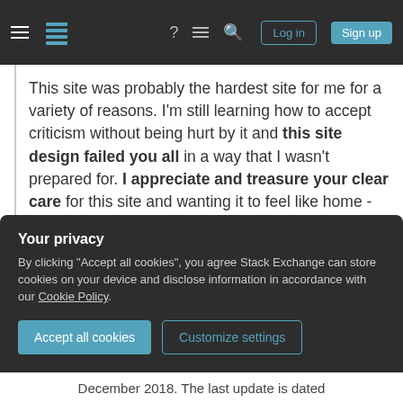Stack Exchange navigation bar with hamburger menu, logo, help, chat, search, Log in, Sign up buttons
This site was probably the hardest site for me for a variety of reasons. I'm still learning how to accept criticism without being hurt by it and this site design failed you all in a way that I wasn't prepared for. I appreciate and treasure your clear care for this site and wanting it to feel like home - and a place you want to be. I want you to be here, too, and want you to feel welcome and comfortable.
Your privacy
By clicking "Accept all cookies", you agree Stack Exchange can store cookies on your device and disclose information in accordance with our Cookie Policy.
Accept all cookies   Customize settings
December 2018. The last update is dated